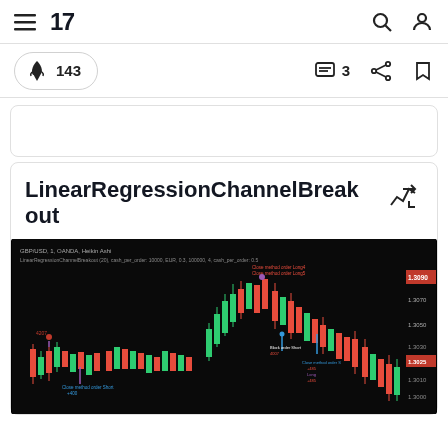TradingView navigation bar with hamburger menu, logo '17', search and profile icons
🚀 143   💬 3   share   bookmark
LinearRegressionChannelBreakout
[Figure (screenshot): Candlestick chart on TradingView showing GBP/USD, 1, OANDA, Heikin Ashi with LinearRegressionChannelBreakout indicator overlay. Chart has green and red candles on black background with trade annotations including 'Close method order Long', 'Close method order Short', price levels around 1.3020-1.3090.]